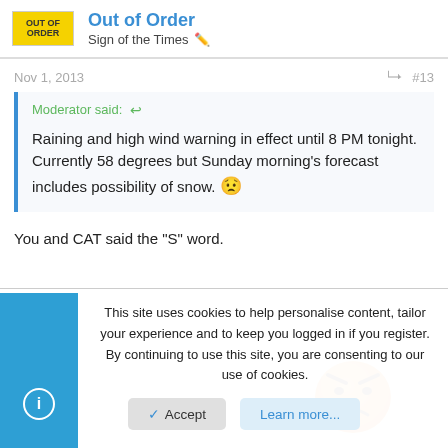Out of Order
Sign of the Times
Nov 1, 2013
#13
Moderator said: ↩
Raining and high wind warning in effect until 8 PM tonight. Currently 58 degrees but Sunday morning's forecast includes possibility of snow. ☹
You and CAT said the "S" word.
[Figure (illustration): Orange angry emoji/emoticon face with furrowed brows]
This site uses cookies to help personalise content, tailor your experience and to keep you logged in if you register.
By continuing to use this site, you are consenting to our use of cookies.
Accept    Learn more...